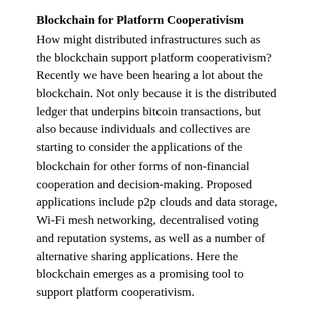Blockchain for Platform Cooperativism
How might distributed infrastructures such as the blockchain support platform cooperativism? Recently we have been hearing a lot about the blockchain. Not only because it is the distributed ledger that underpins bitcoin transactions, but also because individuals and collectives are starting to consider the applications of the blockchain for other forms of non-financial cooperation and decision-making. Proposed applications include p2p clouds and data storage, Wi-Fi mesh networking, decentralised voting and reputation systems, as well as a number of alternative sharing applications. Here the blockchain emerges as a promising tool to support platform cooperativism.